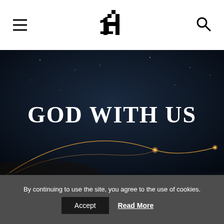10A logo, hamburger menu, search icon
[Figure (photo): Dark night sky background with glowing trajectory arcs (missile or fireworks trails) visible near the bottom. Large white serif bold text reads GOD WITH US centered in the image.]
By continuing to use the site, you agree to the use of cookies.
Accept  Read More